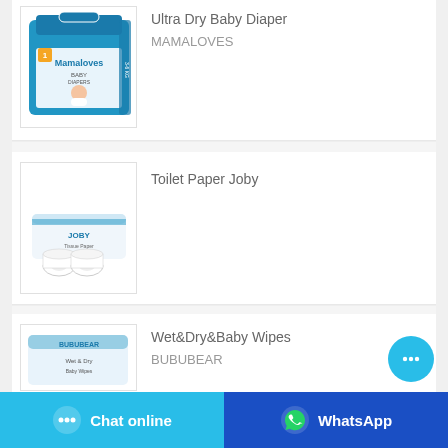[Figure (photo): Blue Mamaloves baby diaper package box]
Ultra Dry Baby Diaper
MAMALOVES
[Figure (photo): Joby toilet paper product package]
Toilet Paper Joby
[Figure (photo): Bububear wet and dry baby wipes package (partially visible)]
Wet&Dry&Baby Wipes
BUBUBEAR
Chat online
WhatsApp